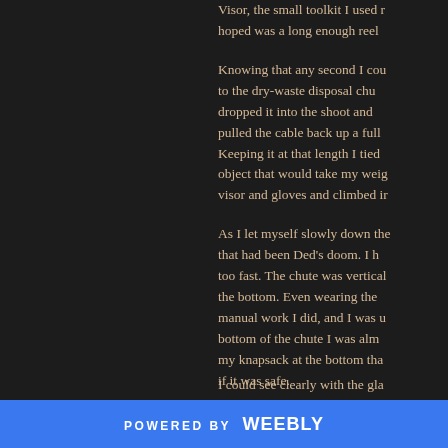Visor, the small toolkit I used hoped was a long enough reel
Knowing that any second I could to the dry-waste disposal chu dropped it into the shoot and pulled the cable back up a full Keeping it at that length I tied object that would take my weig visor and gloves and climbed in
As I let myself slowly down the that had been Ded's doom. I h too fast. The chute was vertical the bottom. Even wearing the manual work I did, and I was u bottom of the chute I was alm my knapsack at the bottom tha if it was safe.
I could see clearly with the gla
POWERED BY weebly